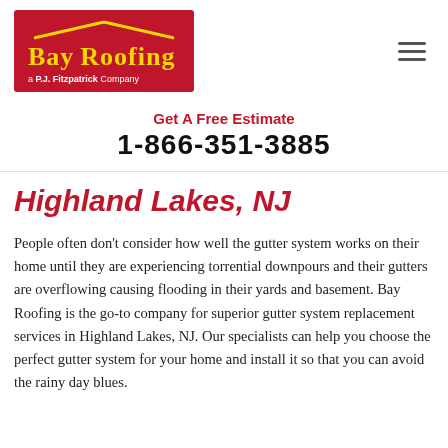[Figure (logo): Bay Roofing logo — red background with yellow roof outline and yellow text 'Bay Roofing', subtitle 'a P.J. Fitzpatrick Company']
Get A Free Estimate
1-866-351-3885
Highland Lakes, NJ
People often don't consider how well the gutter system works on their home until they are experiencing torrential downpours and their gutters are overflowing causing flooding in their yards and basement. Bay Roofing is the go-to company for superior gutter system replacement services in Highland Lakes, NJ. Our specialists can help you choose the perfect gutter system for your home and install it so that you can avoid the rainy day blues.